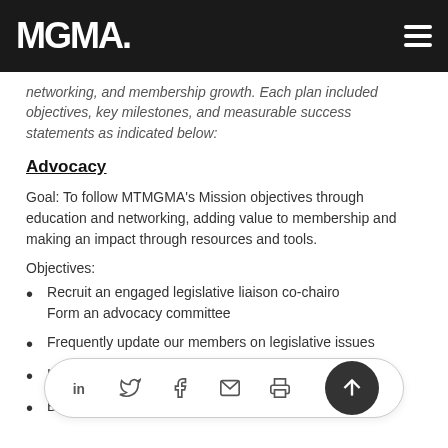MGMA
networking, and membership growth. Each plan included objectives, key milestones, and measurable success statements as indicated below:
Advocacy
Goal: To follow MTMGMA's Mission objectives through education and networking, adding value to membership and making an impact through resources and tools.
Objectives:
Recruit an engaged legislative liaison co-chairo Form an advocacy committee
Frequently update our members on legislative issues
Include ad… the year (no…
Build and expand advocacy partnerships with